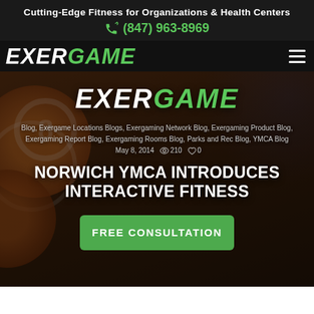Cutting-Edge Fitness for Organizations & Health Centers
(847) 963-8969
[Figure (logo): Exergame logo in white and green italic bold text, with hamburger menu icon on right]
[Figure (screenshot): Hero image with Exergame logo, blog metadata, title NORWICH YMCA INTRODUCES INTERACTIVE FITNESS, and FREE CONSULTATION button on dark game-board background]
NORWICH YMCA INTRODUCES INTERACTIVE FITNESS
Blog, Exergame Locations Blogs, Exergaming Network Blog, Exergaming Product Blog, Exergaming Report Blog, Exergaming Rooms Blog, Parks and Rec Blog, YMCA Blog  May 8, 2014  210  0